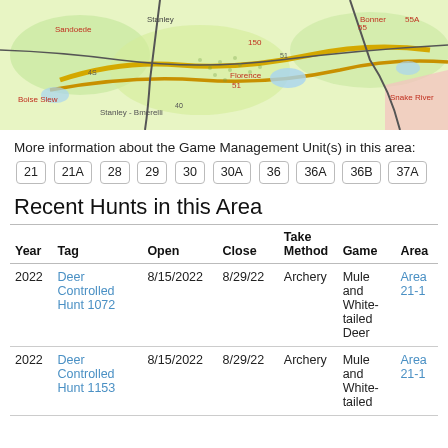[Figure (map): Topographic game management unit map showing regions labeled with numbers and place names including Sandoede, Boise Slew, Florence, Snake River, and unit boundaries in yellow, with green and yellow terrain.]
More information about the Game Management Unit(s) in this area: 21  21A  28  29  30  30A  36  36A  36B  37A
Recent Hunts in this Area
| Year | Tag | Open | Close | Take Method | Game | Area |
| --- | --- | --- | --- | --- | --- | --- |
| 2022 | Deer Controlled Hunt 1072 | 8/15/2022 | 8/29/22 | Archery | Mule and White-tailed Deer | Area 21-1 |
| 2022 | Deer Controlled Hunt 1153 | 8/15/2022 | 8/29/22 | Archery | Mule and White-tailed | Area 21-1 |